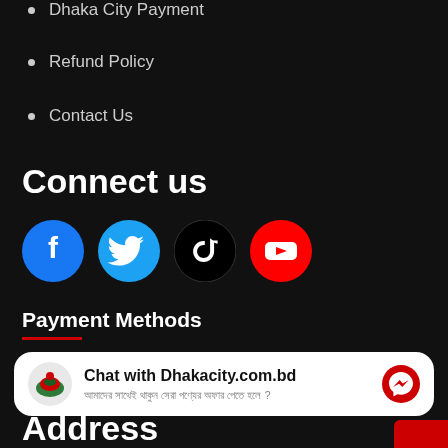Dhaka City Payment
Refund Policy
Contact Us
Connect us
[Figure (illustration): Row of four social media icons: Facebook (blue circle), Twitter (blue circle), TikTok (black circle), YouTube (red circle)]
Payment Methods
[Figure (infographic): Chat widget with Dhakacity.com.bd logo, title 'Chat with Dhakacity.com.bd', Bengali subtitle text, and Messenger icon on right]
Address